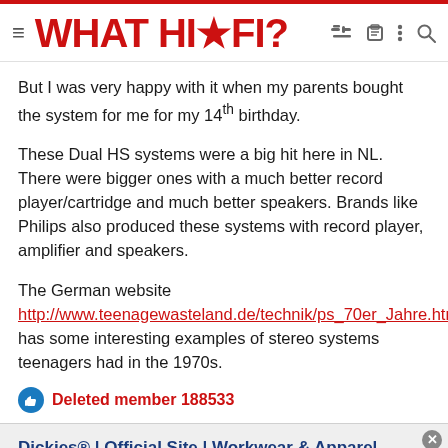WHAT HI·FI?
But I was very happy with it when my parents bought the system for me for my 14th birthday.
These Dual HS systems were a big hit here in NL. There were bigger ones with a much better record player/cartridge and much better speakers. Brands like Philips also produced these systems with record player, amplifier and speakers.
The German website http://www.teenagewasteland.de/technik/ps_70er_Jahre.html has some interesting examples of stereo systems teenagers had in the 1970s.
Deleted member 188533
[Figure (other): Advertisement banner for Dickies workwear with title 'Dickies® | Official Site | Workwear & Apparel', subtitle 'for work pants, work shirts, overalls, and coveralls.', URL 'www.dickies.com', and a blue arrow button.]